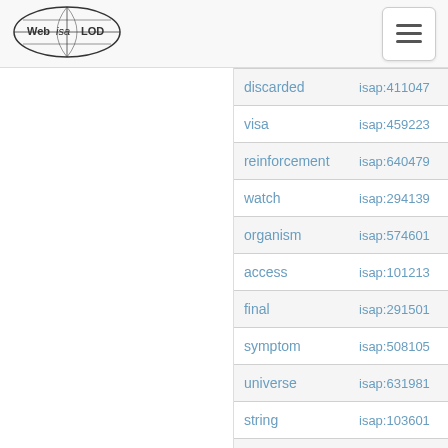[Figure (logo): Web isa LOD globe logo with oval border]
| term | id |
| --- | --- |
| discarded | isap:411047 |
| visa | isap:459223 |
| reinforcement | isap:640479 |
| watch | isap:294139 |
| organism | isap:574601 |
| access | isap:101213 |
| final | isap:291501 |
| symptom | isap:508105 |
| universe | isap:631981 |
| string | isap:103601 |
| enhancement | isap:463256 |